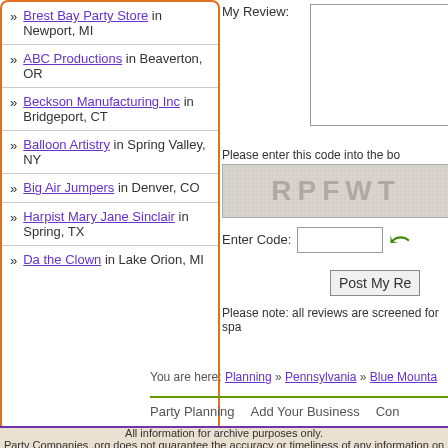Brest Bay Party Store in Newport, MI
ABC Productions in Beaverton, OR
Beckson Manufacturing Inc in Bridgeport, CT
Balloon Artistry in Spring Valley, NY
Big Air Jumpers in Denver, CO
Harpist Mary Jane Sinclair in Spring, TX
Da the Clown in Lake Orion, MI
My Review:
[Figure (other): CAPTCHA image showing text RPFWT on a speckled grey background]
Please enter this code into the bo
Enter Code:
Post My Re
Please note: all reviews are screened for spa
You are here: Planning » Pennsylvania » Blue Mounta
Party Planning   Add Your Business   Con
All information for archive purposes only. Party Companies .org does not guarantee the accuracy or timeliness of any information on